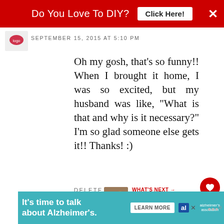[Figure (screenshot): Red banner ad at top: 'Do You Love To DIY? Click Here!' with close X button]
[Figure (photo): Small circular avatar/logo image for commenter]
SEPTEMBER 15, 2015 AT 5:10 PM
Oh my gosh, that's so funny!! When I brought it home, I was so excited, but my husband was like, "What is that and why is it necessary?" I'm so glad someone else gets it!! Thanks! :)
DELETE
REPLY
[Figure (screenshot): What's Next panel: thumbnail image with text 'WHAT'S NEXT → Wooden Leaf Banner DIY...']
[Figure (screenshot): Bottom teal banner ad: 'It's time to talk about Alzheimer's.' with Learn More button and Alzheimer's Association logo]